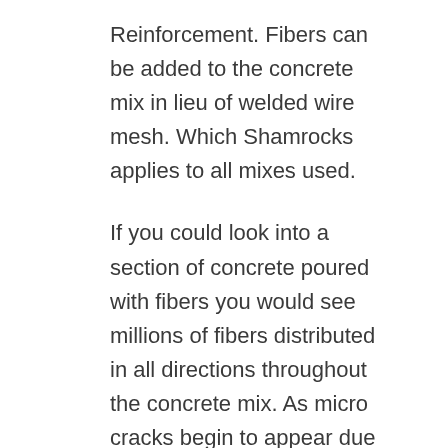Reinforcement. Fibers can be added to the concrete mix in lieu of welded wire mesh. Which Shamrocks applies to all mixes used.
If you could look into a section of concrete poured with fibers you would see millions of fibers distributed in all directions throughout the concrete mix. As micro cracks begin to appear due to shrinkage as water evaporates from the concrete (plastic shrinkage), the cracks intersect with the fibers which block the path and provide